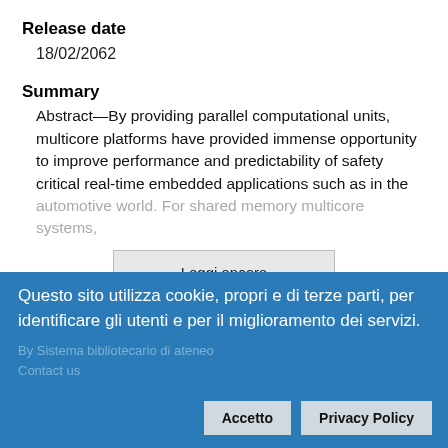Release date
18/02/2062
Summary
Abstract—By providing parallel computational units, multicore platforms have provided immense opportunity to improve performance and predictability of safety critical real-time embedded applications such as in the automotive world. For shared memory multicore systems,
Leggi ancora
File
| Nome file | Dimensione |
| --- | --- |
| 1 file non consultabili su richiesta dell'autore.
Contatta l'autore |  |
Questo sito utilizza cookie, propri e di terze parti, per identificare gli utenti e per il miglioramento dei servizi.
By Sistema bibliotecario di ateneo
Contact us
Accetto
Privacy Policy